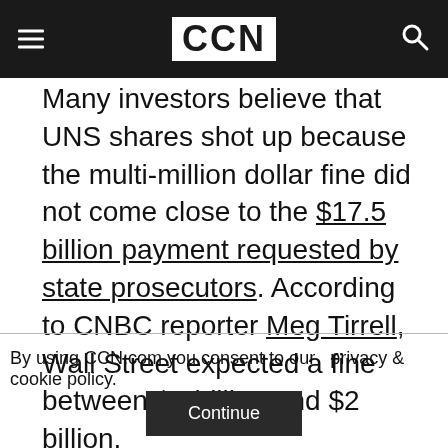CCN
Many investors believe that UNS shares shot up because the multi-million dollar fine did not come close to the $17.5 billion payment requested by state prosecutors. According to CNBC reporter Meg Tirrell, Wall Street expected a fine between $1 billion and $2 billion.
By using CCN.com you consent to our  privacy & cookie policy.